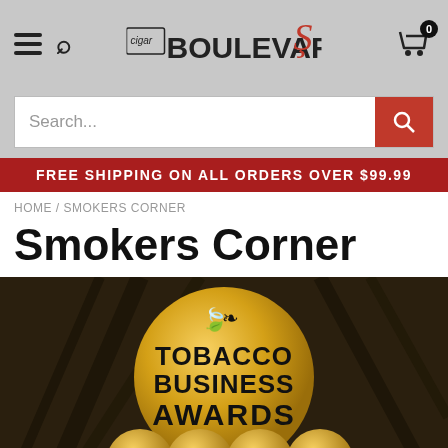cigar BOULEVARD — navigation and search bar
FREE SHIPPING ON ALL ORDERS OVER $99.99
HOME / SMOKERS CORNER
Smokers Corner
[Figure (logo): Tobacco Business Awards gold medal logo on dark brown background with decorative gold circles at bottom]